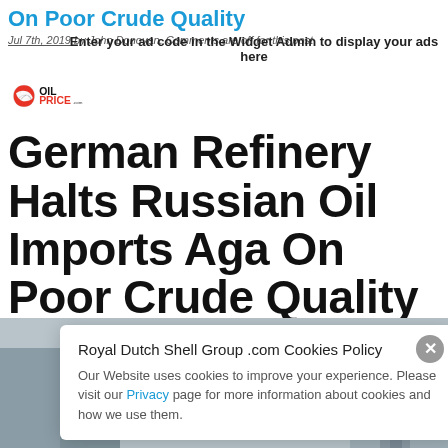On Poor Crude Quality
Jul 7th, 2019 by John Donovan. Comments are off for this post
Enter your ad code in the Widget Admin to display your ads here
[Figure (logo): OilPrice.com logo with red/orange swoosh icon]
German Refinery Halts Russian Oil Imports Again On Poor Crude Quality
By Tsvetana Paraskova - Jul 05, 2019, 5:00 PM CDT
[Figure (photo): Background photo of industrial/refinery scene]
Royal Dutch Shell Group .com Cookies Policy
Our Website uses cookies to improve your experience. Please visit our Privacy page for more information about cookies and how we use them.